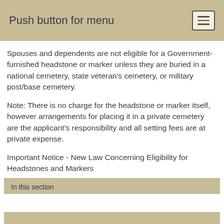Push button for menu
Spouses and dependents are not eligible for a Government-furnished headstone or marker unless they are buried in a national cemetery, state veteran's cemetery, or military post/base cemetery.
Note: There is no charge for the headstone or marker itself, however arrangements for placing it in a private cemetery are the applicant's responsibility and all setting fees are at private expense.
Important Notice - New Law Concerning Eligibility for Headstones and Markers
In this section